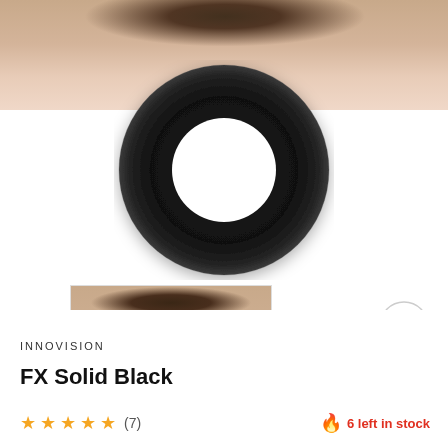[Figure (photo): Product page image showing a black solid FX contact lens (large donut shape) over an eye background, with a thumbnail of an eye wearing the lens and a small dark grey lens thumbnail below]
INNOVISION
FX Solid Black
★★★★★ (7)
🔥 6 left in stock